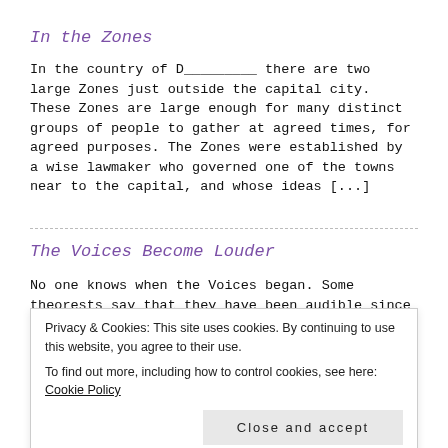In the Zones
In the country of D_________ there are two large Zones just outside the capital city. These Zones are large enough for many distinct groups of people to gather at agreed times, for agreed purposes. The Zones were established by a wise lawmaker who governed one of the towns near to the capital, and whose ideas [...]
The Voices Become Louder
No one knows when the Voices began. Some theorests say that they have been audible since the dawn of time. To those peoples' ...of transmissions from a distant p... ...ly, we were [...] ...standing the forums [...]